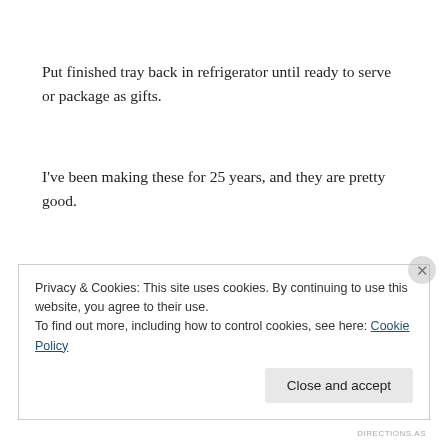Put finished tray back in refrigerator until ready to serve or package as gifts.
I've been making these for 25 years, and they are pretty good.
Good Luck!
Privacy & Cookies: This site uses cookies. By continuing to use this website, you agree to their use.
To find out more, including how to control cookies, see here: Cookie Policy
Close and accept